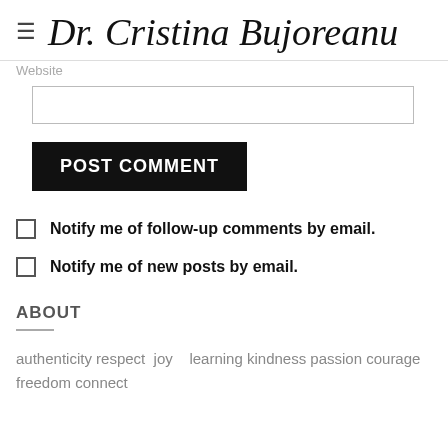Dr. Cristina Bujoreanu
Website
POST COMMENT
Notify me of follow-up comments by email.
Notify me of new posts by email.
ABOUT
authenticity respect  joy    learning kindness passion courage freedom connect